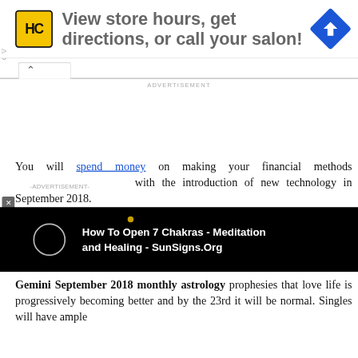[Figure (other): Advertisement banner with HC logo (yellow square with HC text), text 'View store hours, get directions, or call your salon!', and a blue diamond navigation icon]
ADVERTISEMENT
You will spend money on making your financial methods with the introduction of new technology in September 2018.
[Figure (other): Video player thumbnail showing dark background with a circle icon and dot, with title 'How To Open 7 Chakras - Meditation and Healing - SunSigns.Org']
Gemini September 2018 monthly astrology prophesies that love life is progressively becoming better and by the 23rd it will be normal. Singles will have ample